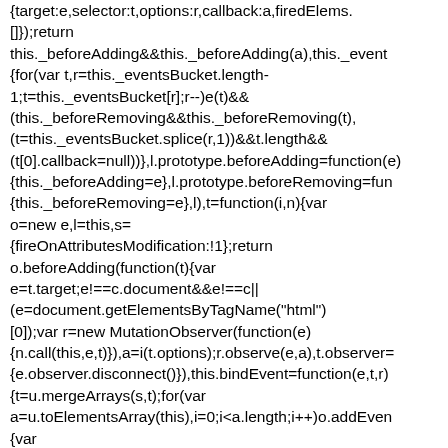{target:e,selector:t,options:r,callback:a,firedElems:[]);return this._beforeAdding&&this._beforeAdding(a),this._event{for(var t,r=this._eventsBucket.length-1;t=this._eventsBucket[r];r--)e(t)&&(this._beforeRemoving&&this._beforeRemoving(t),(t=this._eventsBucket.splice(r,1))&&t.length&&(t[0].callback=null))},l.prototype.beforeAdding=function(e){this._beforeAdding=e},l.prototype.beforeRemoving=function(e){this._beforeRemoving=e},l),t=function(i,n){var o=new e,l=this,s={fireOnAttributesModification:!1};return o.beforeAdding(function(t){var e=t.target;e!==c.document&&e!==c||(e=document.getElementsByTagName("html")[0]);var r=new MutationObserver(function(e){n.call(this,e,t)}),a=i(t.options);r.observe(e,a),t.observer={e.observer.disconnect()}),this.bindEvent=function(e,t,r){t=u.mergeArrays(s,t);for(var a=u.toElementsArray(this),i=0;i<a.length;i++)o.addEven{var r=u.toElementsArray(this);o.removeEvent(function(e){for(var t=0;t<r.length;t++)if(this===w||e.target===r[t])return!0;re{var